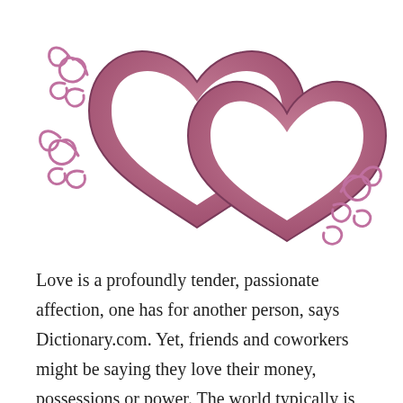[Figure (illustration): Two overlapping decorative pink/mauve heart outlines with ornamental swirl flourishes on the left and right sides.]
Love is a profoundly tender, passionate affection, one has for another person, says Dictionary.com. Yet, friends and coworkers might be saying they love their money, possessions or power. The world typically is selfish and it's lusts are often mistaken for love. Such is